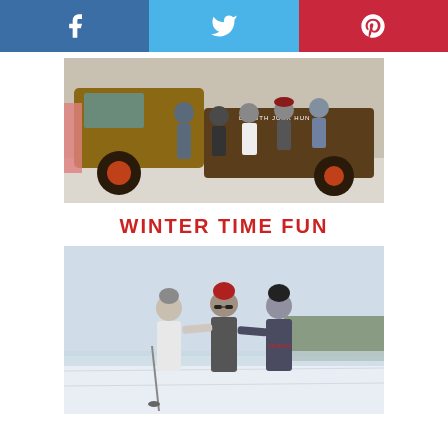[Figure (other): Social media share bar with Facebook (blue), Twitter (light blue), and Pinterest (red) buttons with white icons]
[Figure (photo): Group of women sitting on and standing near an old rusty vintage truck (Duluth Junk Hunt) in winter with snow on the ground]
WINTER TIME FUN
[Figure (photo): Three women standing together outdoors in winter, smiling, wearing hats and winter clothes on a snowy landscape]